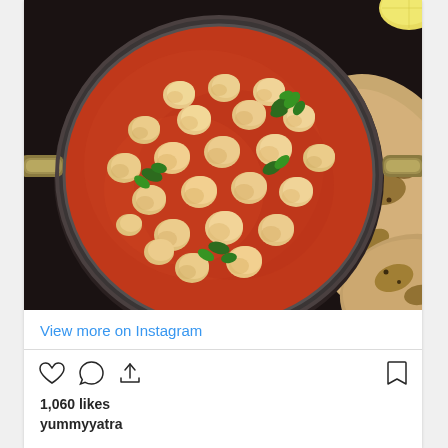[Figure (photo): Overhead view of a bowl of chickpea masala (chhole/chole) in a dark metal kadai with handles, showing chickpeas in a rich red-orange tomato-based curry garnished with fresh cilantro/coriander leaves, with pieces of naan bread visible to the right side, on a dark background.]
View more on Instagram
[Figure (other): Instagram action icons: heart (like), speech bubble (comment), share/upload arrow on the left; bookmark icon on the right]
1,060 likes
yummyyatra